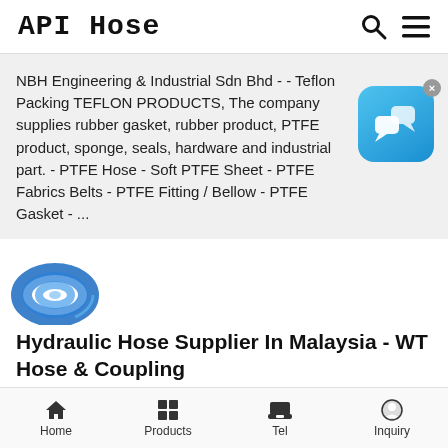API Hose
NBH Engineering & Industrial Sdn Bhd - - Teflon Packing TEFLON PRODUCTS, The company supplies rubber gasket, rubber product, PTFE product, sponge, seals, hardware and industrial part. - PTFE Hose - Soft PTFE Sheet - PTFE Fabrics Belts - PTFE Fitting / Bellow - PTFE Gasket - ...
[Figure (illustration): Blue chat bubble icon on blue gradient rounded square background with X dismiss button]
[Figure (photo): Blue hydraulic hose coiled in a circle]
Hydraulic Hose Supplier In Malaysia - WT Hose & Coupling
Besides, WT Hose & Coupling Sdn Bhd also supplies hydraulic hoses with
Home  Products  Tel  Inquiry